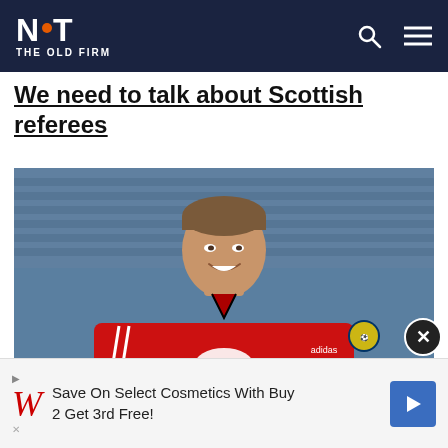NOT THE OLD FIRM
We need to talk about Scottish referees
[Figure (photo): A man in a red Scotland national team Adidas Vauxhall tracksuit top smiling, with stadium seats in the background]
Save On Select Cosmetics With Buy 2 Get 3rd Free!